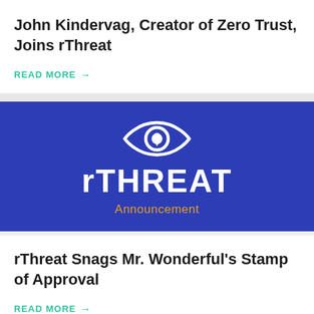John Kindervag, Creator of Zero Trust, Joins rThreat
READ MORE →
[Figure (logo): rThreat logo on dark blue background featuring an eye icon with a location pin pupil, the brand name rTHREAT in white bold text, and the word Announcement in golden/amber color below]
rThreat Snags Mr. Wonderful's Stamp of Approval
READ MORE →